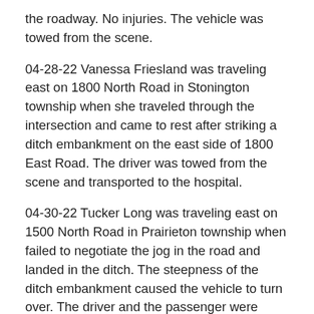the roadway. No injuries. The vehicle was towed from the scene.
04-28-22 Vanessa Friesland was traveling east on 1800 North Road in Stonington township when she traveled through the intersection and came to rest after striking a ditch embankment on the east side of 1800 East Road. The driver was towed from the scene and transported to the hospital.
04-30-22 Tucker Long was traveling east on 1500 North Road in Prairieton township when failed to negotiate the jog in the road and landed in the ditch. The steepness of the ditch embankment caused the vehicle to turn over. The driver and the passenger were transported to the hospital and the vehicle was towed from the scene.